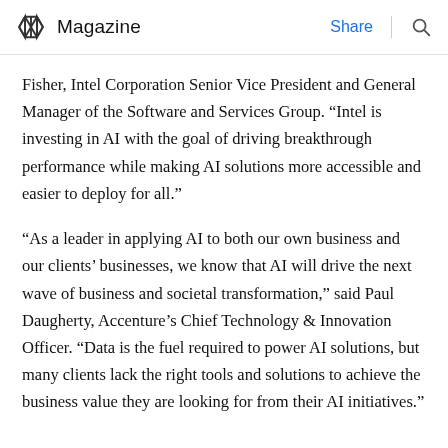Magazine | Share | [search icon]
Fisher, Intel Corporation Senior Vice President and General Manager of the Software and Services Group. “Intel is investing in AI with the goal of driving breakthrough performance while making AI solutions more accessible and easier to deploy for all.”
“As a leader in applying AI to both our own business and our clients’ businesses, we know that AI will drive the next wave of business and societal transformation,” said Paul Daugherty, Accenture’s Chief Technology & Innovation Officer. “Data is the fuel required to power AI solutions, but many clients lack the right tools and solutions to achieve the business value they are looking for from their AI initiatives.”